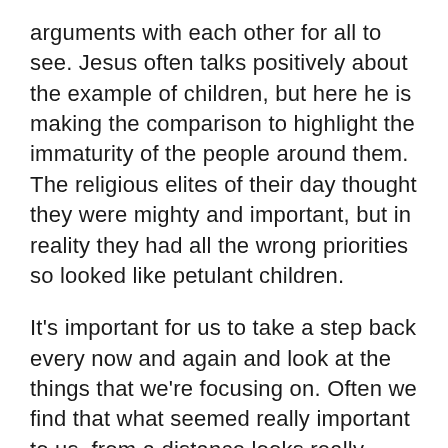arguments with each other for all to see. Jesus often talks positively about the example of children, but here he is making the comparison to highlight the immaturity of the people around them. The religious elites of their day thought they were mighty and important, but in reality they had all the wrong priorities so looked like petulant children.
It's important for us to take a step back every now and again and look at the things that we're focusing on. Often we find that what seemed really important to us, from a distance looks really petty and unimportant. When that happens all we can do is humbly admit we were being childish and refocus ourselves on what's important.
Prayer: Lord, help me to have the right priorities